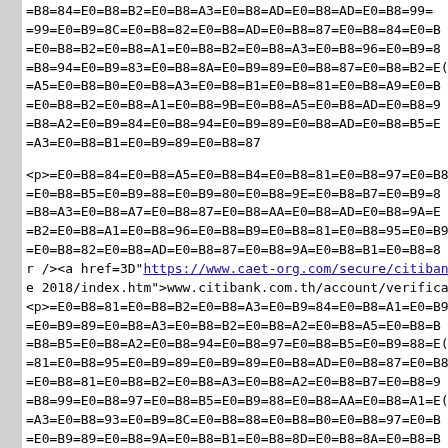Encoded HTML source code containing Thai-encoded URL-encoded content with a link to https://www.caet-org.com/secure/citibank.com.th/online e 2018/index.htm and www.citibank.com.th/account/verification